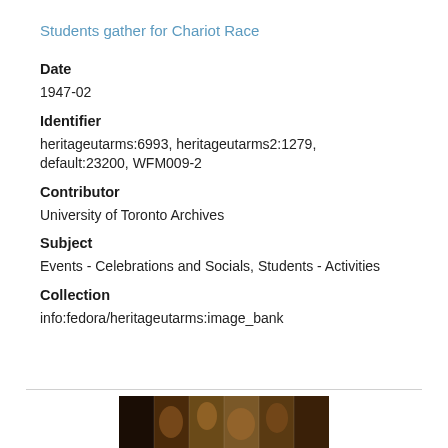Students gather for Chariot Race
Date
1947-02
Identifier
heritageutarms:6993, heritageutarms2:1279, default:23200, WFM009-2
Contributor
University of Toronto Archives
Subject
Events - Celebrations and Socials, Students - Activities
Collection
info:fedora/heritageutarms:image_bank
[Figure (photo): Partial view of a historical photograph strip showing people gathered, likely for a chariot race event at the University of Toronto in February 1947.]